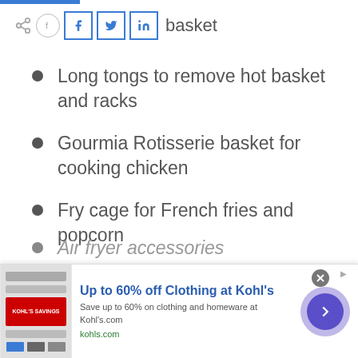[Figure (screenshot): Social sharing bar with share icon, Facebook, Twitter, LinkedIn buttons, and the word 'basket']
Long tongs to remove hot basket and racks
Gourmia Rotisserie basket for cooking chicken
Fry cage for French fries and popcorn
Kabob and skewer rack grills
Racks that allow you to cook several foods at a time
Air fryer accessories
[Figure (screenshot): Advertisement banner: Up to 60% off Clothing at Kohl's. Save up to 60% on clothing and homeware at Kohl's.com. kohls.com]